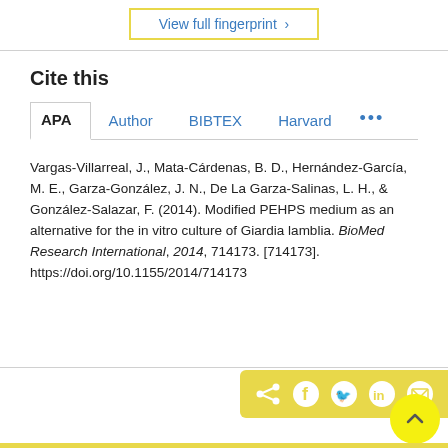View full fingerprint ›
Cite this
APA | Author | BIBTEX | Harvard | ...
Vargas-Villarreal, J., Mata-Cárdenas, B. D., Hernández-García, M. E., Garza-González, J. N., De La Garza-Salinas, L. H., & González-Salazar, F. (2014). Modified PEHPS medium as an alternative for the in vitro culture of Giardia lamblia. BioMed Research International, 2014, 714173. [714173]. https://doi.org/10.1155/2014/714173